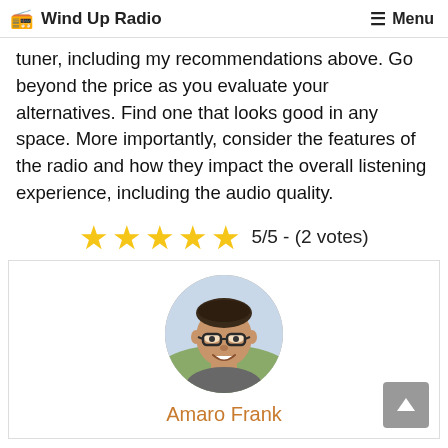Wind Up Radio | Menu
tuner, including my recommendations above. Go beyond the price as you evaluate your alternatives. Find one that looks good in any space. More importantly, consider the features of the radio and how they impact the overall listening experience, including the audio quality.
[Figure (other): 5-star rating display showing 5 gold stars with text '5/5 - (2 votes)']
[Figure (photo): Circular profile photo of a man with glasses and dark hair, smiling]
Amaro Frank